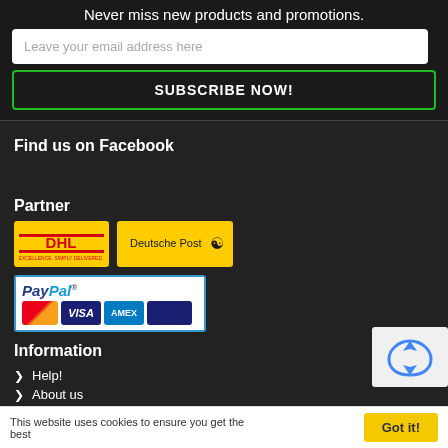Never miss new products and promotions.
Leave your email address here
SUBSCRIBE NOW!
Find us on Facebook
Partner
[Figure (logo): DHL yellow logo badge]
[Figure (logo): Deutsche Post yellow logo badge]
[Figure (logo): PayPal payment widget with MasterCard, Visa, AMEX, and one more card logo]
Information
Help!
About us
FAQ
[Figure (other): reCAPTCHA checkbox widget]
This website uses cookies to ensure you get the best
Got it!